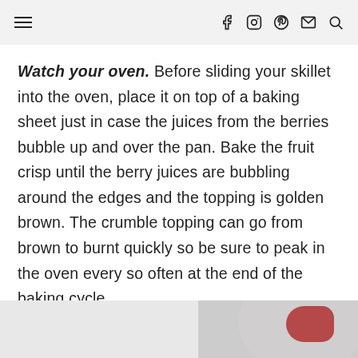≡  f  🔘  🅟  ✉  🔍
Watch your oven. Before sliding your skillet into the oven, place it on top of a baking sheet just in case the juices from the berries bubble up and over the pan. Bake the fruit crisp until the berry juices are bubbling around the edges and the topping is golden brown. The crumble topping can go from brown to burnt quickly so be sure to peak in the oven every so often at the end of the baking cycle.
[Figure (photo): Partial photo strip at bottom of page showing a dish with berries, partially visible circular plate on the right side]